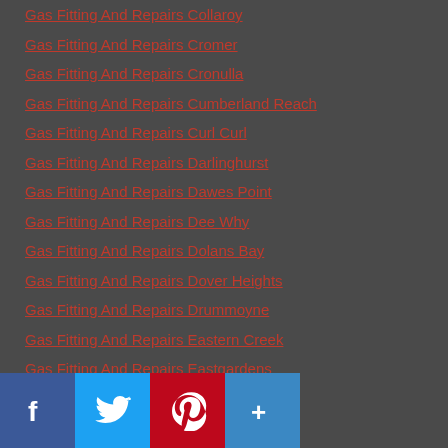Gas Fitting And Repairs Collaroy
Gas Fitting And Repairs Cromer
Gas Fitting And Repairs Cronulla
Gas Fitting And Repairs Cumberland Reach
Gas Fitting And Repairs Curl Curl
Gas Fitting And Repairs Darlinghurst
Gas Fitting And Repairs Dawes Point
Gas Fitting And Repairs Dee Why
Gas Fitting And Repairs Dolans Bay
Gas Fitting And Repairs Dover Heights
Gas Fitting And Repairs Drummoyne
Gas Fitting And Repairs Eastern Creek
Gas Fitting And Repairs Eastgardens
Gas Fitting And Repairs Eastlakes
Gas Fitting And Repairs Elderslie
Gas Fitting And Repairs Eschol Park
Gas Fitting And Repairs Faraday Park
Gas Fitting And Repairs Five Dock
Gas Fitting And Repairs Fullers Bridge